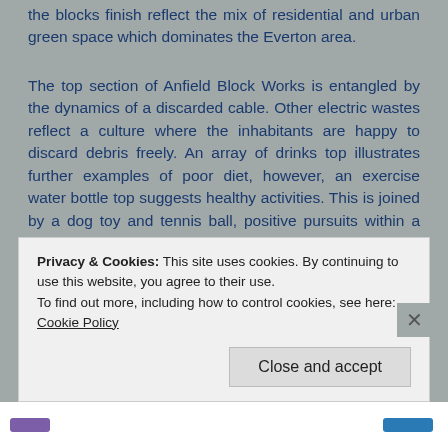the blocks finish reflect the mix of residential and urban green space which dominates the Everton area.
The top section of Anfield Block Works is entangled by the dynamics of a discarded cable. Other electric wastes reflect a culture where the inhabitants are happy to discard debris freely. An array of drinks top illustrates further examples of poor diet, however, an exercise water bottle top suggests healthy activities. This is joined by a dog toy and tennis ball, positive pursuits within a leisure space. Again, a pigeon feather evidence
Privacy & Cookies: This site uses cookies. By continuing to use this website, you agree to their use.
To find out more, including how to control cookies, see here: Cookie Policy
Close and accept